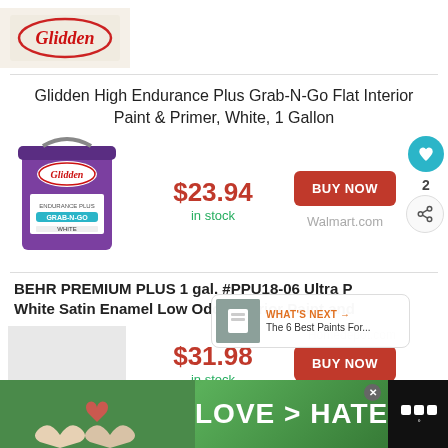[Figure (logo): Glidden brand logo on beige background]
Glidden High Endurance Plus Grab-N-Go Flat Interior Paint & Primer, White, 1 Gallon
[Figure (photo): Paint can of Glidden High Endurance Plus Grab-N-Go Flat Interior Paint white 1 gallon]
$23.94
in stock
BUY NOW
Walmart.com
2
BEHR PREMIUM PLUS 1 gal. #PPU18-06 Ultra P White Satin Enamel Low Odor Interior Paint and
$31.98
in stock
BUY NOW
Homedepot.com
WHAT'S NEXT → The 6 Best Paints For...
[Figure (photo): Advertisement banner: LOVE > HATE with hands forming heart shape]
LOVE > HATE